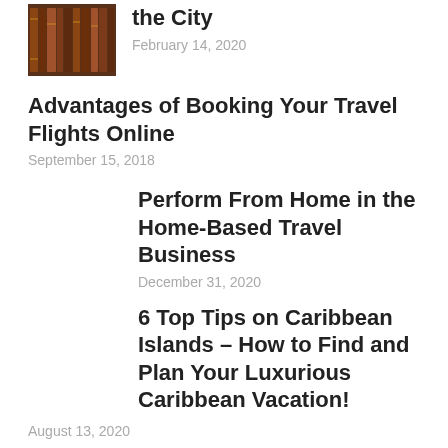[Figure (photo): Thumbnail image of book spines on a shelf]
the City
February 14, 2020
Advantages of Booking Your Travel Flights Online
September 15, 2018
Perform From Home in the Home-Based Travel Business
December 31, 2020
6 Top Tips on Caribbean Islands – How to Find and Plan Your Luxurious Caribbean Vacation!
August 13, 2020
5 Tips to Prepare for a Home Exchange